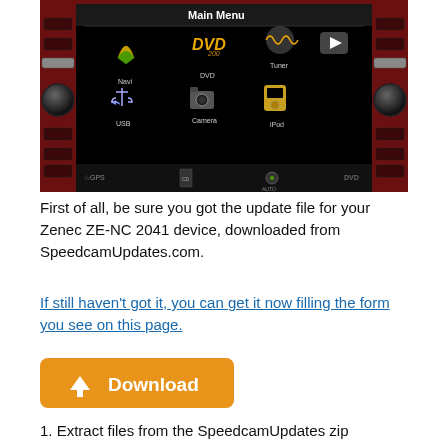[Figure (screenshot): Zenec ZE-NC 2041 car head unit Main Menu screen showing icons for Navi, DVD, Tuner, USB, Camera, iPod]
First of all, be sure you got the update file for your Zenec ZE-NC 2041 device, downloaded from SpeedcamUpdates.com.
If still haven't got it, you can get it now filling the form you see on this page.
[Figure (other): Orange Download button with upward arrow chevron]
1. Extract files from the SpeedcamUpdates zip